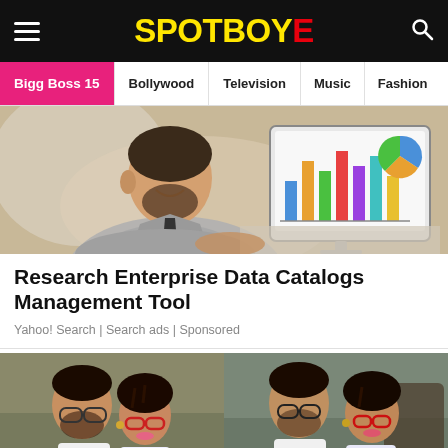SpotboyE
Bigg Boss 15 | Bollywood | Television | Music | Fashion
[Figure (photo): Man in gray shirt smiling while using a computer showing charts on the monitor]
Research Enterprise Data Catalogs Management Tool
Yahoo! Search | Search ads | Sponsored
[Figure (photo): Two photos side by side of a man with beard and glasses and a woman with braids and red glasses]